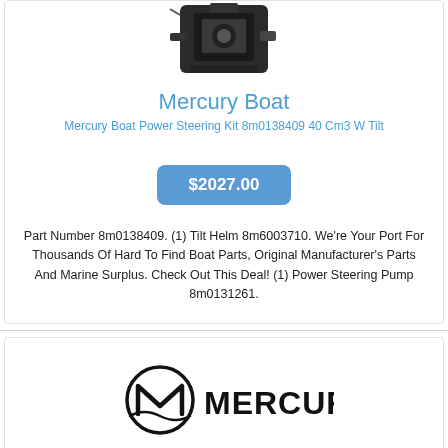[Figure (photo): Mercury boat power steering pump product photo, black mechanical component on white background]
Mercury Boat
Mercury Boat Power Steering Kit 8m0138409 40 Cm3 W Tilt
$2027.00
Part Number 8m0138409. (1) Tilt Helm 8m6003710. We're Your Port For Thousands Of Hard To Find Boat Parts, Original Manufacturer's Parts And Marine Surplus. Check Out This Deal! (1) Power Steering Pump 8m0131261.
[Figure (logo): Mercury Marine logo — circular M emblem with MERCURY text in bold black]